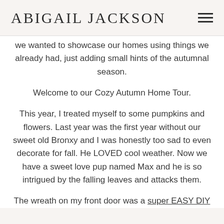ABIGAIL JACKSON
we wanted to showcase our homes using things we already had, just adding small hints of the autumnal season.
Welcome to our Cozy Autumn Home Tour.
This year, I treated myself to some pumpkins and flowers. Last year was the first year without our sweet old Bronxy and I was honestly too sad to even decorate for fall. He LOVED cool weather. Now we have a sweet love pup named Max and he is so intrigued by the falling leaves and attacks them.
The wreath on my front door was a super EASY DIY